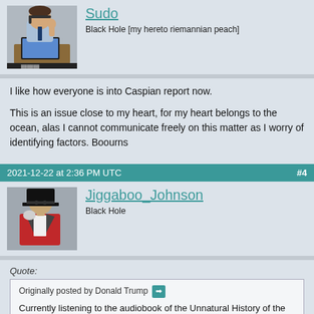[Figure (photo): Avatar of user Sudo: person in business attire at laptop giving thumbs up]
Sudo
Black Hole [my hereto riemannian peach]
I like how everyone is into Caspian report now.

This is an issue close to my heart, for my heart belongs to the ocean, alas I cannot communicate freely on this matter as I worry of identifying factors. Boourns
2021-12-22 at 2:36 PM UTC  #4
[Figure (photo): Avatar of user Jiggaboo_Johnson: man in top hat and formal attire]
Jiggaboo_Johnson
Black Hole
Quote:
Originally posted by Donald Trump
Currently listening to the audiobook of the Unnatural History of the Sea by Callum M. Roberts. It's all about how people have over and over consumed all the resources of the ocean. For instance the west shore of America used to be covered with seals, massive colonies. Early explorers and colonists report San Fancisco bay being black with seals. As a result hunters went and killed them all, selling the pelts and the oil.